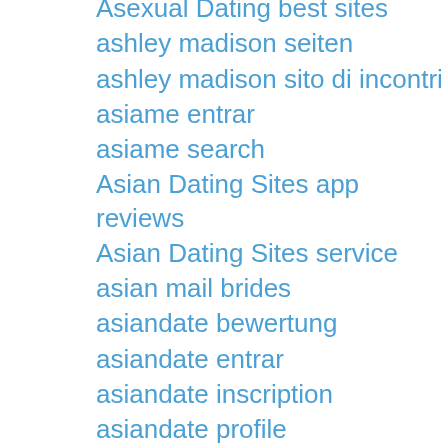Asexual Dating best sites
ashley madison seiten
ashley madison sito di incontri
asiame entrar
asiame search
Asian Dating Sites app reviews
Asian Dating Sites service
asian mail brides
asiandate bewertung
asiandate entrar
asiandate inscription
asiandate profile
asiandating-overzicht Log in
aspergers-chat-rooms review
Atheist Dating free